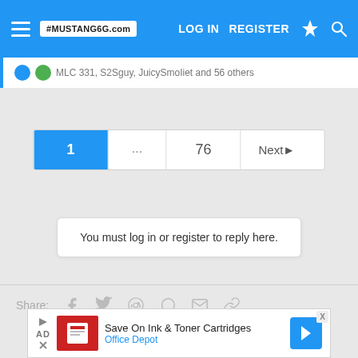MUSTANG6G.COM — LOG IN  REGISTER
MLC331, S2Sguy, JuicySmoIiet and 56 others
1 ... 76 Next
You must log in or register to reply here.
Share:
[Figure (screenshot): Advertisement: Save On Ink & Toner Cartridges — Office Depot]
Save On Ink & Toner Cartridges — Office Depot